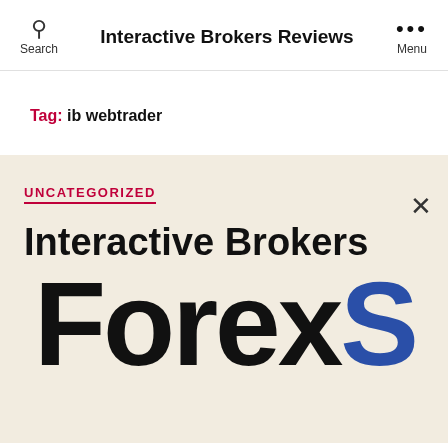Interactive Brokers Reviews
Tag: ib webtrader
UNCATEGORIZED
Interactive Brokers
[Figure (logo): Partial logo showing 'ForexS' in large bold text, black and blue]